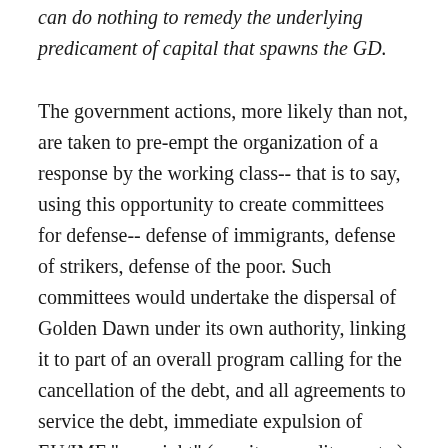can do nothing to remedy the underlying predicament of capital that spawns the GD.
The government actions, more likely than not, are taken to pre-empt the organization of a response by the working class-- that is to say, using this opportunity to create committees for defense-- defense of immigrants, defense of strikers, defense of the poor. Such committees would undertake the dispersal of Golden Dawn under its own authority, linking it to part of an overall program calling for the cancellation of the debt, and all agreements to service the debt, immediate expulsion of EU/IMF "oversight" (monitors, auditors, etc.), withdrawal from the EU, etc. etc. etc.